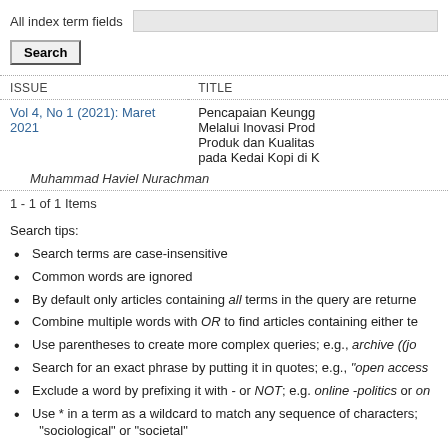All index term fields
| ISSUE | TITLE |
| --- | --- |
| Vol 4, No 1 (2021): Maret 2021 | Pencapaian Keungg... Melalui Inovasi Prod... Produk dan Kualitas... pada Kedai Kopi di K... |
Muhammad Haviel Nurachman
1 - 1 of 1 Items
Search tips:
Search terms are case-insensitive
Common words are ignored
By default only articles containing all terms in the query are returne...
Combine multiple words with OR to find articles containing either te...
Use parentheses to create more complex queries; e.g., archive ((jo...
Search for an exact phrase by putting it in quotes; e.g., "open access...
Exclude a word by prefixing it with - or NOT; e.g. online -politics or on...
Use * in a term as a wildcard to match any sequence of characters; e.g. "sociological" or "societal"